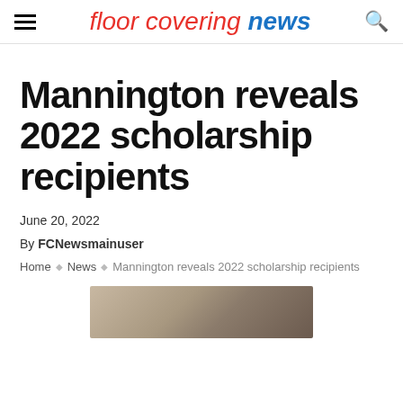floor covering news
Mannington reveals 2022 scholarship recipients
June 20, 2022
By FCNewsmainuser
Home ◇ News ◇ Mannington reveals 2022 scholarship recipients
[Figure (photo): Photo of two scholarship recipients]